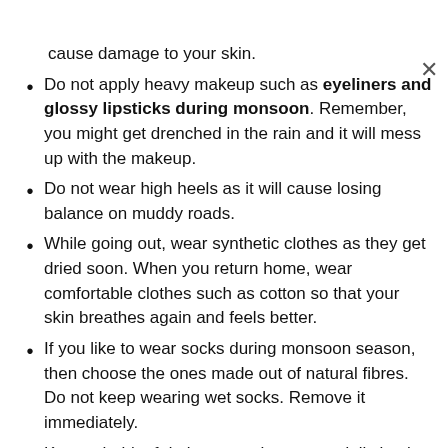cause damage to your skin.
Do not apply heavy makeup such as eyeliners and glossy lipsticks during monsoon. Remember, you might get drenched in the rain and it will mess up with the makeup.
Do not wear high heels as it will cause losing balance on muddy roads.
While going out, wear synthetic clothes as they get dried soon. When you return home, wear comfortable clothes such as cotton so that your skin breathes again and feels better.
If you like to wear socks during monsoon season, then choose the ones made out of natural fibres. Do not keep wearing wet socks. Remove it immediately.
Keep a habit of drying your shoes on a daily basis. Use monsoon-specific shoes.
If you work in an office setting, try removing your shoes for some time. This way your feet will breathe and feel